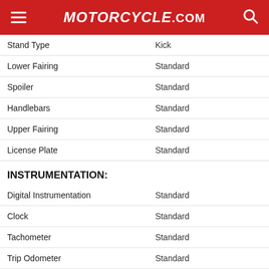Motorcycle.com
| Feature | Value |
| --- | --- |
| Stand Type | Kick |
| Lower Fairing | Standard |
| Spoiler | Standard |
| Handlebars | Standard |
| Upper Fairing | Standard |
| License Plate | Standard |
INSTRUMENTATION:
| Feature | Value |
| --- | --- |
| Digital Instrumentation | Standard |
| Clock | Standard |
| Tachometer | Standard |
| Trip Odometer | Standard |
| Trip Computer | Standard |